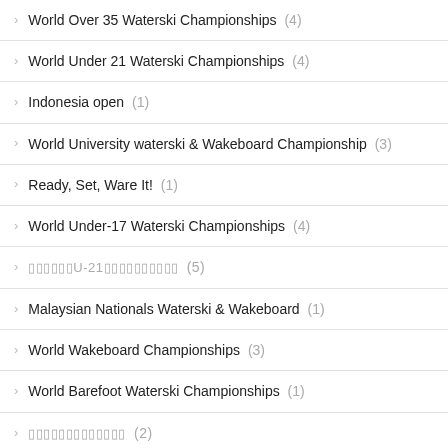World Over 35 Waterski Championships (4)
World Under 21 Waterski Championships (4)
Indonesia open (1)
World University waterski & Wakeboard Championship (3)
Ready, Set, Ware It! (1)
World Under-17 Waterski Championships (4)
□□□□□□U-21□□□□□□□□□□ (5)
Malaysian Nationals Waterski & Wakeboard (1)
World Wakeboard Championships (3)
World Barefoot Waterski Championships (1)
□□□□□□□□□□□□□ (2)